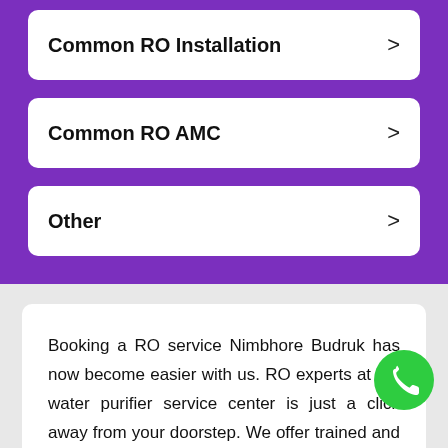Common RO Installation
Common RO AMC
Other
Booking a RO service Nimbhore Budruk has now become easier with us. RO experts at the water purifier service center is just a click away from your doorstep. We offer trained and expert service technicians who have gained maximum service expertise...